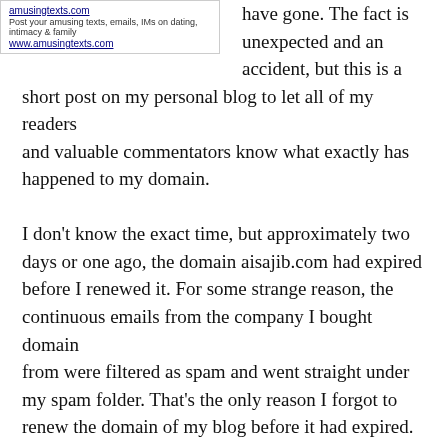[Figure (other): Ad box for amusingtexts.com with links and tagline]
have gone. The fact is unexpected and an accident, but this is a short post on my personal blog to let all of my readers and valuable commentators know what exactly has happened to my domain.

I don't know the exact time, but approximately two days or one ago, the domain aisajib.com had expired before I renewed it. For some strange reason, the continuous emails from the company I bought domain from were filtered as spam and went straight under my spam folder. That's the only reason I forgot to renew the domain of my blog before it had expired.

Once expired, the domain will be parked for additional 30 days before making it available for others. And this